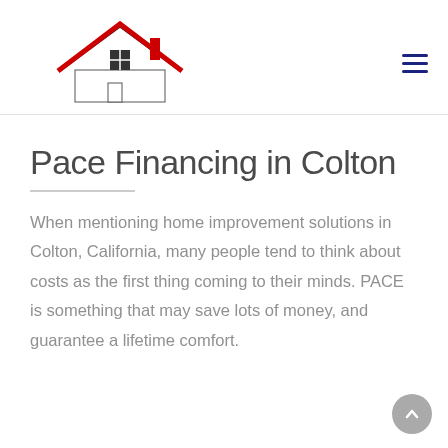[Figure (logo): Team All Star Construction logo with red roof icon and tagline Roofing, Remodeling, Solar with five red stars]
Pace Financing in Colton
When mentioning home improvement solutions in Colton, California, many people tend to think about costs as the first thing coming to their minds. PACE is something that may save lots of money, and guarantee a lifetime comfort.